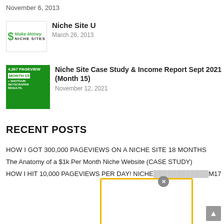November 6, 2013
Niche Site U
March 26, 2013
Niche Site Case Study & Income Report Sept 2021 (Month 15)
November 12, 2021
RECENT POSTS
HOW I GOT 300,000 PAGEVIEWS ON A NICHE SITE 18 MONTHS
The Anatomy of a $1k Per Month Niche Website (CASE STUDY)
HOW I HIT 10,000 PAGEVIEWS PER DAY! NICHE ... M17
Start Here First! CLICK ME 🔲🔲
© 2021 NICHE SITE U